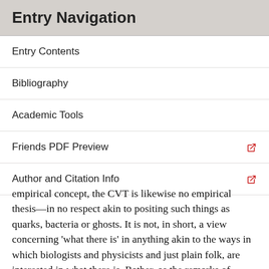Entry Navigation
Entry Contents
Bibliography
Academic Tools
Friends PDF Preview
Author and Citation Info
empirical concept, the CVT is likewise no empirical thesis—in no respect akin to positing such things as quarks, bacteria or ghosts. It is not, in short, a view concerning 'what there is' in anything akin to the ways in which biologists and physicists and just plain folk, are interested in what there is. Rather, as the remarks of Wittgenstein and Strawson in particular suggest, it is an austerely semantic (or logico-semantic) thesis, concerning the essential content of the categories involved in any reference or predication.[3]
The thesis can then be expressed in either of two ways—